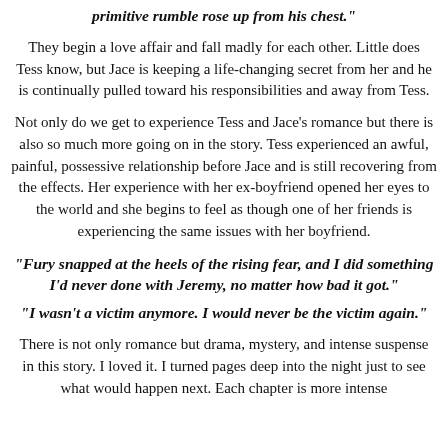primitive rumble rose up from his chest."
They begin a love affair and fall madly for each other. Little does Tess know, but Jace is keeping a life-changing secret from her and he is continually pulled toward his responsibilities and away from Tess.
Not only do we get to experience Tess and Jace's romance but there is also so much more going on in the story. Tess experienced an awful, painful, possessive relationship before Jace and is still recovering from the effects. Her experience with her ex-boyfriend opened her eyes to the world and she begins to feel as though one of her friends is experiencing the same issues with her boyfriend.
"Fury snapped at the heels of the rising fear, and I did something I'd never done with Jeremy, no matter how bad it got."
"I wasn't a victim anymore. I would never be the victim again."
There is not only romance but drama, mystery, and intense suspense in this story. I loved it. I turned pages deep into the night just to see what would happen next. Each chapter is more intense